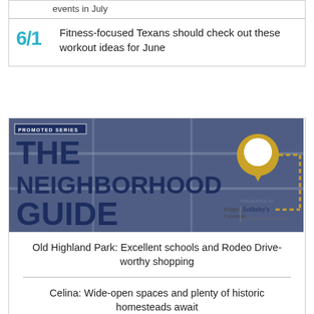events in July
6/1  Fitness-focused Texans should check out these workout ideas for June
[Figure (illustration): Promoted Series banner: THE NEIGHBORHOOD GUIDE, presented by Briggs Freeman Sotheby's International Realty. Dark navy background with map graphic and gold location pin icon with dashed route.]
Old Highland Park: Excellent schools and Rodeo Drive-worthy shopping
Celina: Wide-open spaces and plenty of historic homesteads await
Turtle Creek: The most walkable neighborhood in Dallas